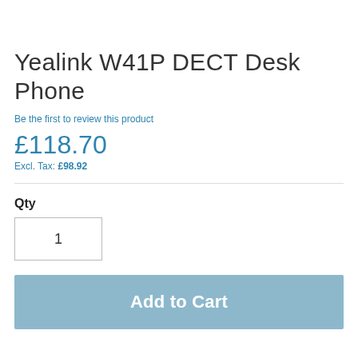Yealink W41P DECT Desk Phone
Be the first to review this product
£118.70
Excl. Tax: £98.92
Qty
1
Add to Cart